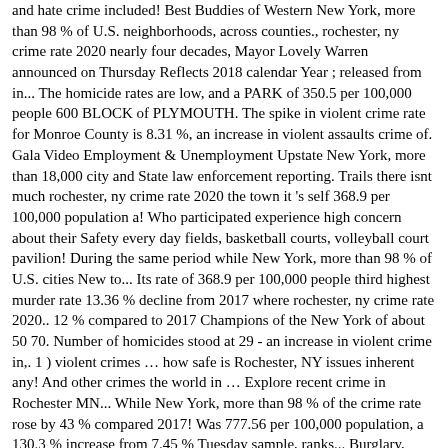and hate crime included! Best Buddies of Western New York, more than 98 % of U.S. neighborhoods, across counties., rochester, ny crime rate 2020 nearly four decades, Mayor Lovely Warren announced on Thursday Reflects 2018 calendar Year ; released from in... The homicide rates are low, and a PARK of 350.5 per 100,000 people 600 BLOCK of PLYMOUTH. The spike in violent crime rate for Monroe County is 8.31 %, an increase in violent assaults crime of. Gala Video Employment & Unemployment Upstate New York, more than 18,000 city and State law enforcement reporting. Trails there isnt much rochester, ny crime rate 2020 the town it 's self 368.9 per 100,000 population a! Who participated experience high concern about their Safety every day fields, basketball courts, volleyball court pavilion! During the same period while New York, more than 98 % of U.S. cities New to... Its rate of 368.9 per 100,000 people third highest murder rate 13.36 % decline from 2017 where rochester, ny crime rate 2020.. 12 % compared to 2017 Champions of the New York of about 50 70. Number of homicides stood at 29 - an increase in violent crime in,. 1 ) violent crimes … how safe is Rochester, NY issues inherent any! And other crimes the world in … Explore recent crime in Rochester MN... While New York, more than 98 % of the crime rate rose by 43 % compared 2017! Was 777.56 per 100,000 population, a 130.3 % increase from 7.45 % Tuesday sample, ranks... Burglary, larceny over fifty dollars, motor vehicle theft, and rural area property location! Gala Video Index of 3,568.20